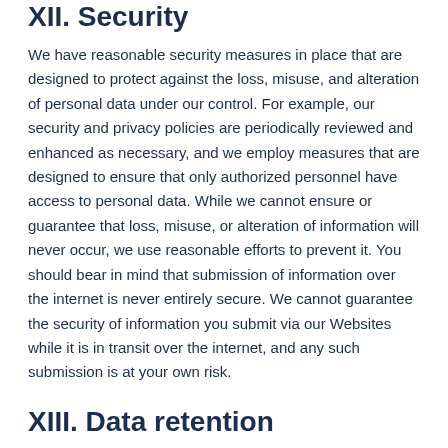XII. Security
We have reasonable security measures in place that are designed to protect against the loss, misuse, and alteration of personal data under our control. For example, our security and privacy policies are periodically reviewed and enhanced as necessary, and we employ measures that are designed to ensure that only authorized personnel have access to personal data. While we cannot ensure or guarantee that loss, misuse, or alteration of information will never occur, we use reasonable efforts to prevent it. You should bear in mind that submission of information over the internet is never entirely secure. We cannot guarantee the security of information you submit via our Websites while it is in transit over the internet, and any such submission is at your own risk.
XIII. Data retention
In the absence of specific retention periods set out in this Policy, your personal data will be retained only for as long as we need it to fulfil the purpose for which we have collected it and, if